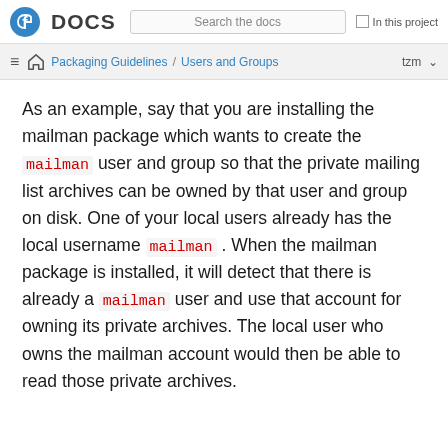Fedora DOCS | Search the docs | In this project
Packaging Guidelines / Users and Groups  tzm
As an example, say that you are installing the mailman package which wants to create the mailman user and group so that the private mailing list archives can be owned by that user and group on disk. One of your local users already has the local username mailman . When the mailman package is installed, it will detect that there is already a mailman user and use that account for owning its private archives. The local user who owns the mailman account would then be able to read those private archives.